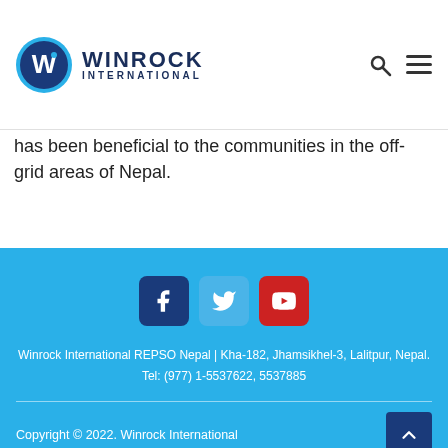[Figure (logo): Winrock International logo with circular W emblem and text WINROCK INTERNATIONAL, plus search and hamburger menu icons on the right]
has been beneficial to the communities in the off-grid areas of Nepal.
Winrock International REPSO Nepal | Kha-182, Jhamsikhel-3, Lalitpur, Nepal.
Tel: (977) 1-5537622, 5537885
Copyright © 2022. Winrock International